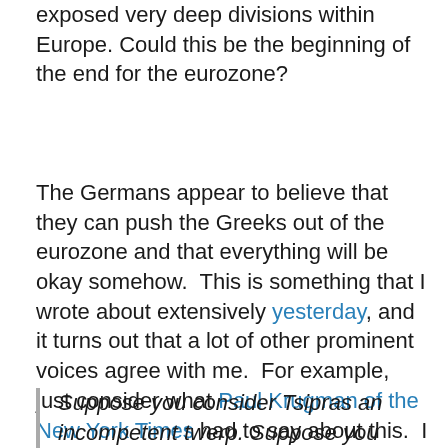exposed very deep divisions within Europe. Could this be the beginning of the end for the eurozone?
The Germans appear to believe that they can push the Greeks out of the eurozone and that everything will be okay somehow. This is something that I wrote about extensively yesterday, and it turns out that a lot of other prominent voices agree with me. For example, just consider what Paul Krugman of the New York Times had to say about this. I am kind of amazed that he finally got something right...
Suppose you consider Tsipras an incompetent twerp. Suppose you dearly want to see Syriza out of